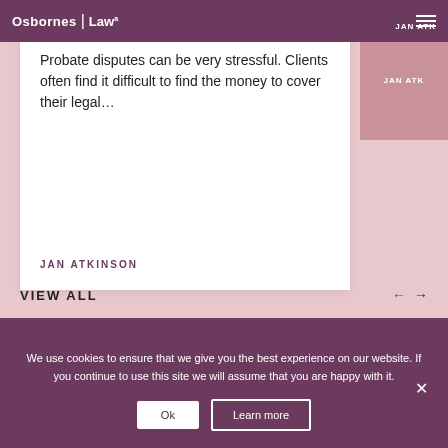Osbornes Law
Probate disputes can be very stressful. Clients often find it difficult to find the money to cover their legal…
JAN ATKINSON
VIEW ALL
We use cookies to ensure that we give you the best experience on our website. If you continue to use this site we will assume that you are happy with it.
Ok
Learn more